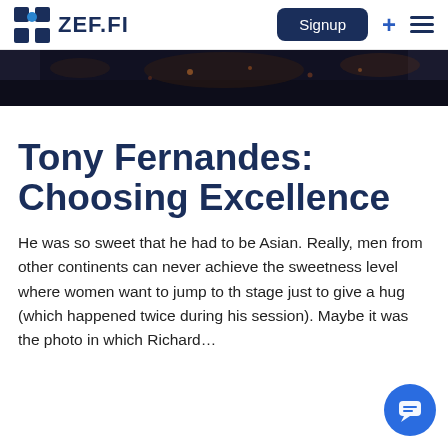ZEF.FI — Signup
[Figure (photo): Dark background hero image showing a crowd or audience, partially cropped at top of content area]
Tony Fernandes: Choosing Excellence
He was so sweet that he had to be Asian. Really, men from other continents can never achieve the sweetness level where women want to jump to the stage just to give a hug (which happened twice during his session). Maybe it was the photo in which Richard…